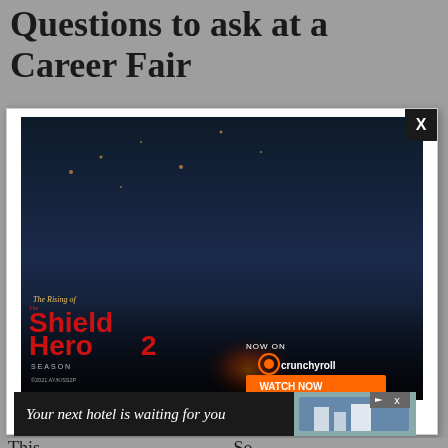Questions to ask at a Career Fair
[Figure (screenshot): A modal advertisement overlay showing 'The Rising of the Shield Hero Season 2' anime promotional image with characters, now streaming on Crunchyroll with a 'WATCH NOW' button. Copyright ©2021 AY/K/SS2P. Modal has a black X close button in top right corner.]
[Figure (screenshot): A banner advertisement with dark background showing text 'Your next hotel is waiting for you' with a hotel image on the right side. Has navigation arrows and X close button in top right.]
This                                                                 So,